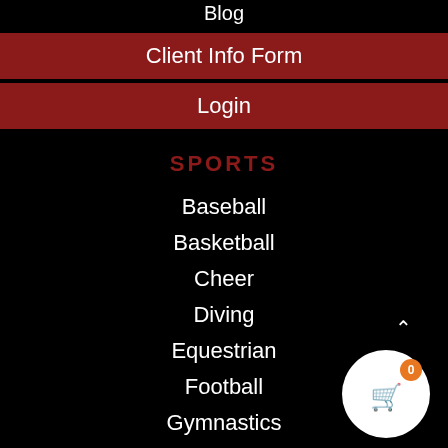Blog
Client Info Form
Login
SPORTS
Baseball
Basketball
Cheer
Diving
Equestrian
Football
Gymnastics
SPORTS
Soccer
Softball